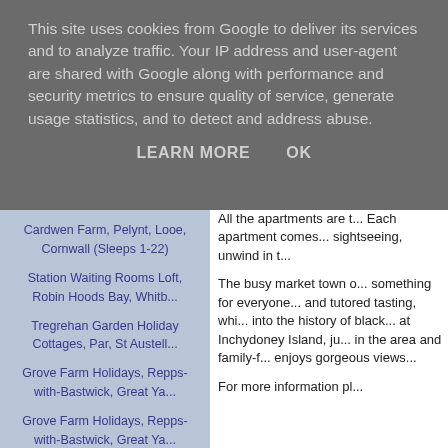This site uses cookies from Google to deliver its services and to analyze traffic. Your IP address and user-agent are shared with Google along with performance and security metrics to ensure quality of service, generate usage statistics, and to detect and address abuse.
LEARN MORE   OK
Cardwen Farm, Pelynt, Looe, Cornwall (Sleeps 1-22)
Station Waiting Rooms Loft, Robin Hoods Bay, Whitb...
Tregrehan Garden Holiday Cottages, Par, St Austell...
Grove Farm Holidays, Repps-with-Bastwick, Great Ya...
Grove Farm Holidays, Repps-with-Bastwick, Great Ya...
Ty Coed, Llanrhaeadr-ym-Mochnant, Powys (Sleeps 1-4)
All the apartments are t... Each apartment comes... sightseeing, unwind in t...
The busy market town o... something for everyone... and tutored tasting, whi... into the history of black... at Inchydoney Island, ju... in the area and family-f... enjoys gorgeous views...
For more information pl...